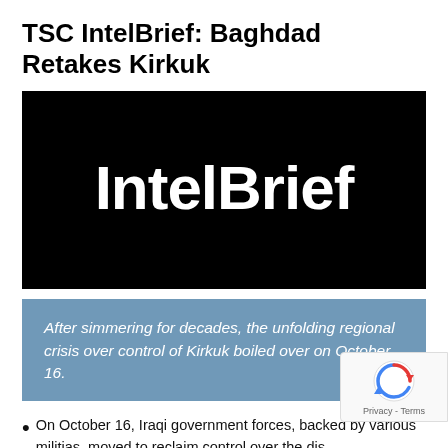TSC IntelBrief: Baghdad Retakes Kirkuk
[Figure (logo): Black rectangular banner with white bold text reading 'IntelBrief']
After simmering for decades, the unfolding regional crisis over control of Kirkuk boiled over on October 16.
On October 16, Iraqi government forces, backed by various militias, moved to reclaim control over the dis...